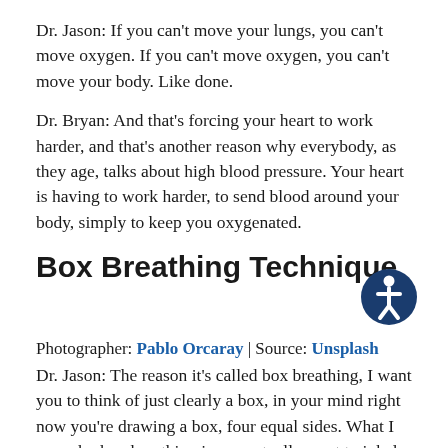Dr. Jason: If you can’t move your lungs, you can’t move oxygen. If you can’t move oxygen, you can’t move your body. Like done.
Dr. Bryan: And that’s forcing your heart to work harder, and that’s another reason why everybody, as they age, talks about high blood pressure. Your heart is having to work harder, to send blood around your body, simply to keep you oxygenated.
Box Breathing Technique
Photographer: Pablo Orcaray | Source: Unsplash
Dr. Jason: The reason it’s called box breathing, I want you to think of just clearly a box, in your mind right now you’re drawing a box, four equal sides. What I mean by box breathing is, we actually want to inhale then...